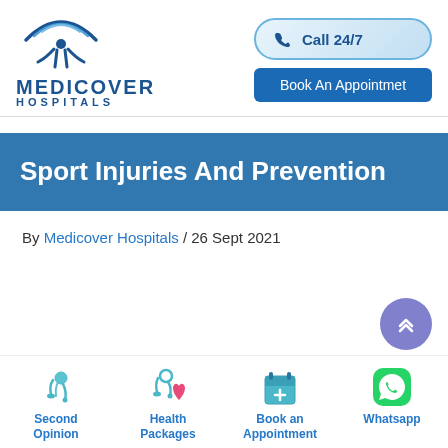[Figure (logo): Medicover Hospitals logo with blue figure icon and text MEDICOVER HOSPITALS]
[Figure (infographic): Call 24/7 button with phone icon (rounded pill shape, light blue gradient) and Book An Appointmet button (dark blue rectangle)]
Sport Injuries And Prevention
By Medicover Hospitals / 26 Sept 2021
[Figure (infographic): Bottom navigation bar with four icons: Second Opinion (stethoscope), Health Packages (stethoscope with heart), Book an Appointment (calendar with plus), Whatsapp (green WhatsApp icon)]